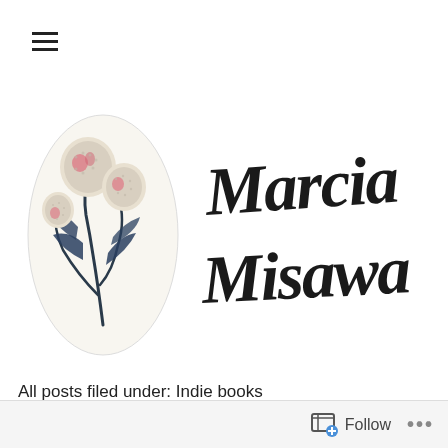[Figure (logo): Hamburger menu icon (three horizontal lines) in top left corner]
[Figure (illustration): Logo for Marcia Misawa blog: watercolor/felt illustration of three round thistle-like flowers with pink centers and dark blue-green leaves on the left, and hand-lettered calligraphy text 'Marcia Misawa' on the right in black ink brushstroke style]
All posts filed under: Indie books
Follow ...